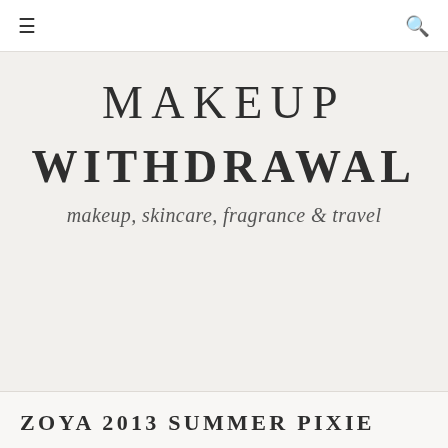☰  🔍
MAKEUP WITHDRAWAL
makeup, skincare, fragrance & travel
ZOYA 2013 SUMMER PIXIE